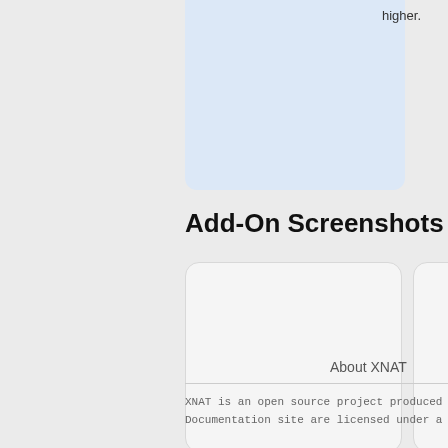higher.
[Figure (screenshot): Partially visible light blue card/screenshot placeholder at top]
Add-On Screenshots
[Figure (screenshot): Empty screenshot placeholder card 1]
[Figure (screenshot): Partially visible screenshot placeholder card 2]
About XNAT
XNAT is an open source project produced by the NRG Lab. Documentation site are licensed under a Creative Commo...